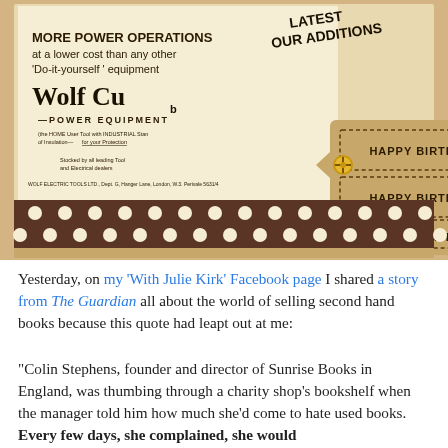[Figure (photo): A scrapbook-style photo showing a vintage Wolf Cub Power Equipment advertisement alongside a decorative birthday tag reading 'HAPPY BIRTHDAY!' three times, with gold brads/fasteners, and a brown polka-dot ribbon border.]
Yesterday, on my 'With Julie Kirk' Facebook page I shared a story from The Guardian all about the world of selling second hand books because this quote had leapt out at me:
"Colin Stephens, founder and director of Sunrise Books in England, was thumbing through a charity shop's bookshelf when the manager told him how much she'd come to hate used books. Every few days, she complained, she would